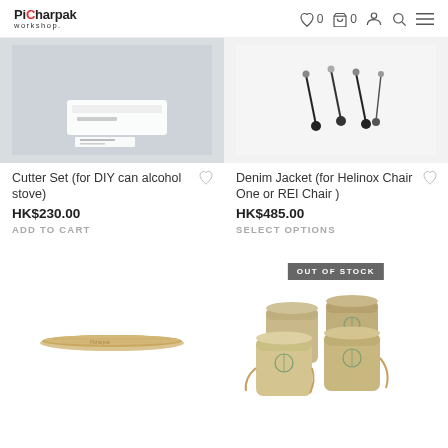Picharpak workshop — navigation header with wishlist (0), cart (0), account, search, menu icons
[Figure (photo): Product photo of Cutter Set for DIY can alcohol stove — white/clear object on light grey background]
Cutter Set (for DIY can alcohol stove)
HK$230.00
ADD TO CART
[Figure (photo): Product photo of Denim Jacket for Helinox Chair One or REI Chair — black metal pins/stakes on white background]
Denim Jacket (for Helinox Chair One or REI Chair )
HK$485.00
SELECT OPTIONS
[Figure (photo): Product photo — flat wooden spatula/paddle on white background]
[Figure (photo): Product photo — set of 4 tan/khaki bamboo cups with string handles and logo, OUT OF STOCK badge overlay]